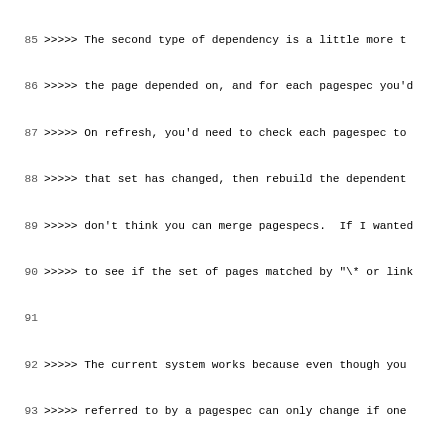85  >>>>> The second type of dependency is a little more t
86  >>>>> the page depended on, and for each pagespec you'd
87  >>>>> On refresh, you'd need to check each pagespec to
88  >>>>> that set has changed, then rebuild the dependent
89  >>>>> don't think you can merge pagespecs.  If I wanted
90  >>>>> to see if the set of pages matched by "\* or link
91
92  >>>>> The current system works because even though you
93  >>>>> referred to by a pagespec can only change if one
94  >>>>> first type will catch a dependency change of the
95  >>>>> This doesn't work with backlinks, and it doesn't
96  >>>>> how to special-case existential matching - I susp
97
98  >>>>> I also tried to come up with other possible solut
99  >>>>> would be the set of pages where a change on one o
100 >>>>> For old-style pagespecs without backlinks, the de
101 >>>>> Unfortunately, with existential matching, the set
102 >>>>> pagespec depends upon can quickly become "*", whi
103
104 ### proposal
105
106 I propose the following. --[[Joey]]
107
108 * Add a second type of dependency, call it an "presence
109 * `add_depends` defaults to adding a regular ("full") d
110   before. (So nothing breaks.)
111 * `add_depends($page, $spec, presence => 0)` adds an pr
112 * `refresh` only looks at added/removed pages when reso
113   dependencies.
114
115 This seems straightforwardly doable. I'd like [[Will]]
116 possible. The type types of dependencies I am proposing
117